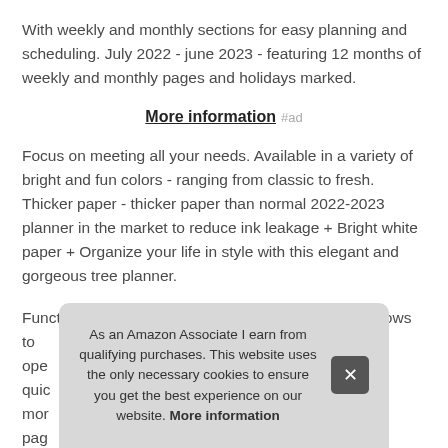With weekly and monthly sections for easy planning and scheduling. July 2022 - june 2023 - featuring 12 months of weekly and monthly pages and holidays marked.
More information #ad
Focus on meeting all your needs. Available in a variety of bright and fun colors - ranging from classic to fresh. Thicker paper - thicker paper than normal 2022-2023 planner in the market to reduce ink leakage + Bright white paper + Organize your life in style with this elegant and gorgeous tree planner.
Functional details - metal lay-flat twin-wire binding allows to ope... quic... mor... pag...
As an Amazon Associate I earn from qualifying purchases. This website uses the only necessary cookies to ensure you get the best experience on our website. More information